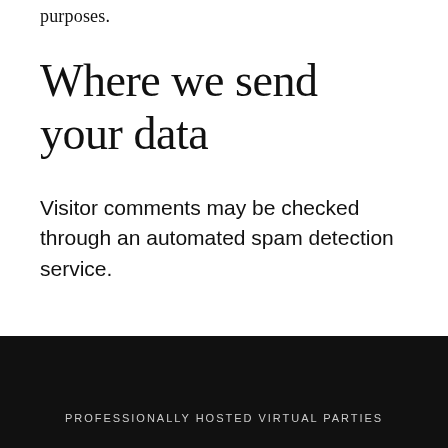purposes.
Where we send your data
Visitor comments may be checked through an automated spam detection service.
PROFESSIONALLY HOSTED VIRTUAL PARTIES